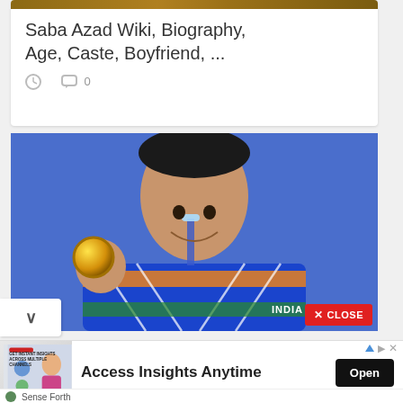Saba Azad Wiki, Biography, Age, Caste, Boyfriend, ...
0
[Figure (photo): Photo of a young Indian male athlete smiling and holding up a gold medal (Olympics) wearing an India jersey with blue, orange, green and white colors. Text 'INDIA' visible on jersey. A red 'X CLOSE' button appears in the bottom right corner.]
[Figure (photo): Advertisement banner image showing a woman with marketing/insights themed graphics.]
Access Insights Anytime
Open
Sense Forth